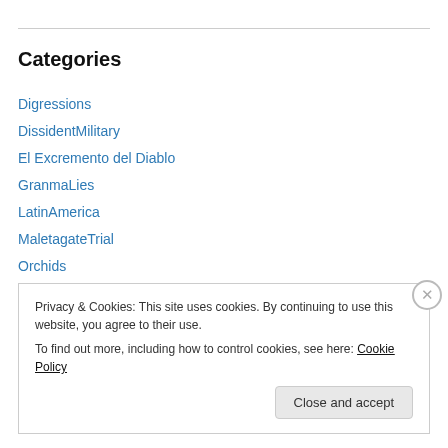Categories
Digressions
DissidentMilitary
El Excremento del Diablo
GranmaLies
LatinAmerica
MaletagateTrial
Orchids
Pictures
Posters
Privacy & Cookies: This site uses cookies. By continuing to use this website, you agree to their use.
To find out more, including how to control cookies, see here: Cookie Policy